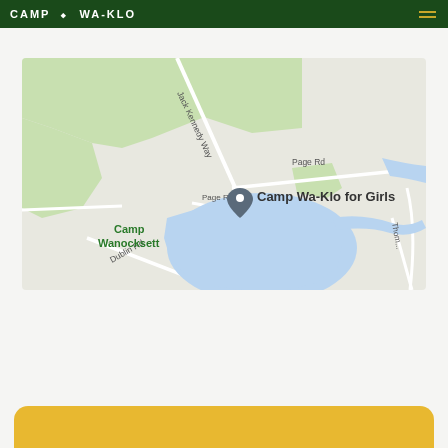CAMP WA-KLO
[Figure (map): Google Maps screenshot showing the location of Camp Wa-Klo for Girls near Camp Wanocksett, with a lake visible, and roads labeled Jack Kennedy Way, Page Rd, Dublin Rd, and Thom... Road. A map pin marks Camp Wa-Klo for Girls.]